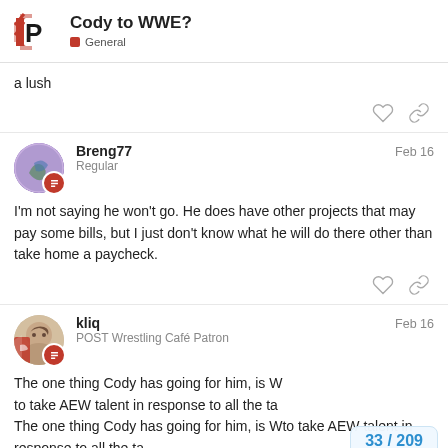Cody to WWE? — General
a lush
Breng77 — Regular — Feb 16
I'm not saying he won't go. He does have other projects that may pay some bills, but I just don't know what he will do there other than take home a paycheck.
kliq — POST Wrestling Café Patron — Feb 16
The one thing Cody has going for him, is W[WWE willing] to take AEW talent in response to all the ta[lent]
33 / 209